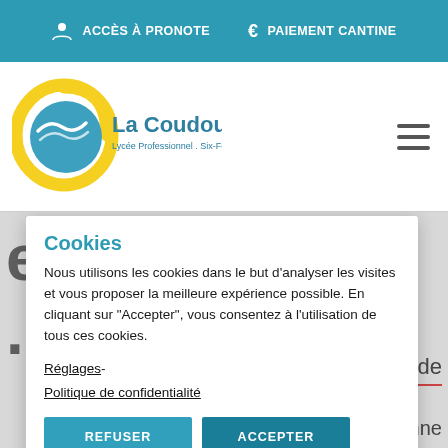ACCÈS À PRONOTE   €  PAIEMENT CANTINE
[Figure (logo): La Coudoulière - Lycée Professionnel, Six-Fours-les-Plages circular logo with seagull and sun]
Cookies
Nous utilisons les cookies dans le but d'analyser les visites et vous proposer la meilleure expérience possible. En cliquant sur "Accepter", vous consentez à l'utilisation de tous ces cookies.
Réglages- Politique de confidentialité
REFUSER
ACCEPTER